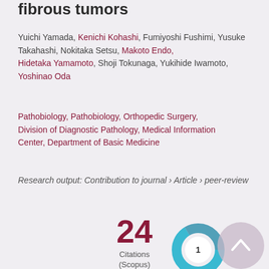fibrous tumors
Yuichi Yamada, Kenichi Kohashi, Fumiyoshi Fushimi, Yusuke Takahashi, Nokitaka Setsu, Makoto Endo, Hidetaka Yamamoto, Shoji Tokunaga, Yukihide Iwamoto, Yoshinao Oda
Pathobiology, Pathobiology, Orthopedic Surgery, Division of Diagnostic Pathology, Medical Information Center, Department of Basic Medicine
Research output: Contribution to journal › Article › peer-review
24 Citations (Scopus)
[Figure (donut-chart): Altmetric donut chart showing score of 1]
[Figure (other): Circular scroll-to-top button]